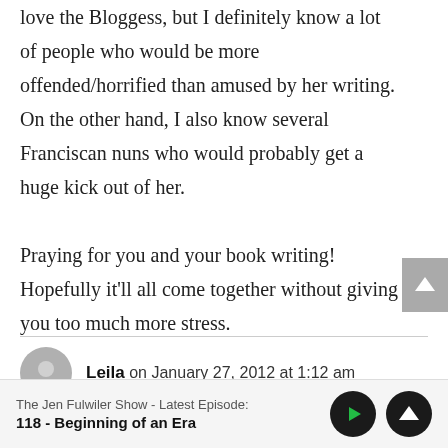love the Bloggess, but I definitely know a lot of people who would be more offended/horrified than amused by her writing. On the other hand, I also know several Franciscan nuns who would probably get a huge kick out of her.

Praying for you and your book writing! Hopefully it’ll all come together without giving you too much more stress.
Leila on January 27, 2012 at 1:12 am
The Jen Fulwiler Show - Latest Episode:
118 - Beginning of an Era